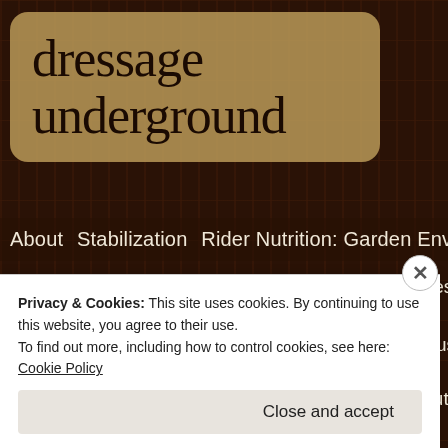dressage underground
About   Stabilization   Rider Nutrition: Garden Envy   Rider Nutrition:
2011 Autumn Digest: Carl Hester At The Global Dressage Forum   20
Just For Fun: What Could Be Better Than This?   Just For Fun: Surf's
3.Bibliography: V.S. Littauer, Field School   2011 Autumn Digest: Kyra
Privacy & Cookies: This site uses cookies. By continuing to use this website, you agree to their use.
To find out more, including how to control cookies, see here: Cookie Policy
Close and accept